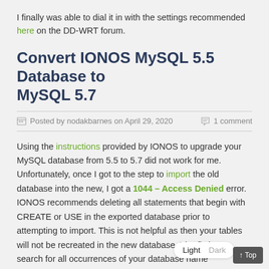I finally was able to dial it in with the settings recommended here on the DD-WRT forum.
Convert IONOS MySQL 5.5 Database to MySQL 5.7
Posted by nodakbarnes on April 29, 2020   1 comment
Using the instructions provided by IONOS to upgrade your MySQL database from 5.5 to 5.7 did not work for me. Unfortunately, once I got to the step to import the old database into the new, I got a 1044 – Access Denied error. IONOS recommends deleting all statements that begin with CREATE or USE in the exported database prior to attempting to import. This is not helpful as then your tables will not be recreated in the new database. The fix is to search for all occurrences of your database name (db402946823 in my case) in the exported database file and replace with the new After that, the import went off without a hitch.